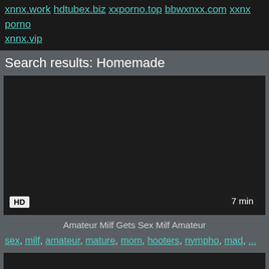xnnx.work hdtubex.biz xxporno.top bbwxnxx.com xxnx porno xnnx.vip
Search results: Homemade
[Figure (screenshot): Dark video thumbnail with HD badge bottom-left and 7 min duration badge bottom-right]
Amateur Milf Gets Sex Milf Amateur
sex, milf, amateur, mature, mom, hooters, nympho, mad, ...